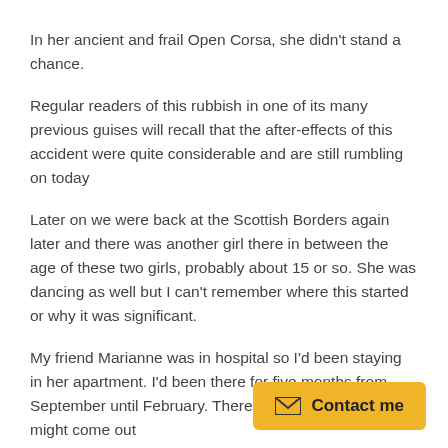In her ancient and frail Open Corsa, she didn't stand a chance.
Regular readers of this rubbish in one of its many previous guises will recall that the after-effects of this accident were quite considerable and are still rumbling on today
Later on we were back at the Scottish Borders again later and there was another girl there in between the age of these two girls, probably about 15 or so. She was dancing as well but I can't remember where this started or why it was significant.
My friend Marianne was in hospital so I'd been staying in her apartment. I'd been there for five months from September until February. There was some talk that she might come out